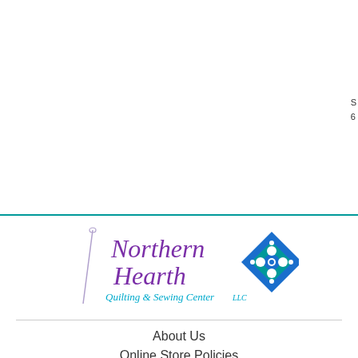S
6
[Figure (logo): Northern Hearth Quilting & Sewing Center LLC logo with purple script text and a blue and teal diamond quilt block graphic with a needle and thread illustration]
About Us
Online Store Policies